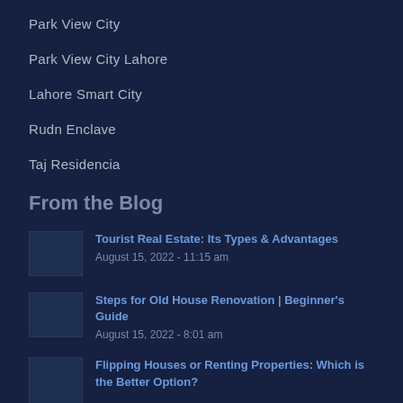Park View City
Park View City Lahore
Lahore Smart City
Rudn Enclave
Taj Residencia
From the Blog
Tourist Real Estate: Its Types & Advantages
August 15, 2022 - 11:15 am
Steps for Old House Renovation | Beginner's Guide
August 15, 2022 - 8:01 am
Flipping Houses or Renting Properties: Which is the Better Option?